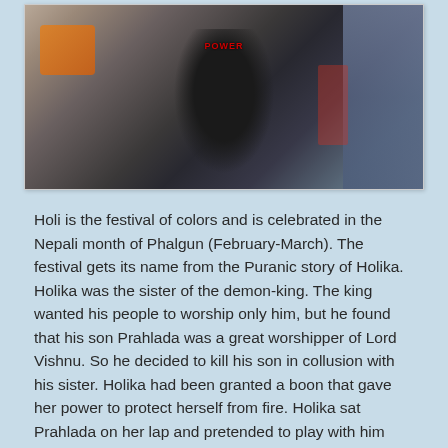[Figure (photo): A person wearing a black t-shirt with text on it, posing against a wall with a mural. Some orange/yellow packaging visible in the background on the left. Denim fabric visible on the right side.]
Holi is the festival of colors and is celebrated in the Nepali month of Phalgun (February-March). The festival gets its name from the Puranic story of Holika. Holika was the sister of the demon-king. The king wanted his people to worship only him, but he found that his son Prahlada was a great worshipper of Lord Vishnu. So he decided to kill his son in collusion with his sister. Holika had been granted a boon that gave her power to protect herself from fire. Holika sat Prahlada on her lap and pretended to play with him while demon-king ordered his men to set the place on fire. But the Holika's boon